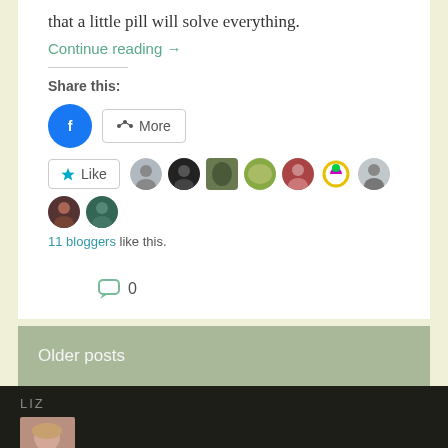that a little pill will solve everything.
Continue reading →
Share this:
[Figure (infographic): Facebook share button (blue circle with F icon) and a More button with share icon]
[Figure (infographic): Like button with star icon, followed by 9 blogger avatar thumbnails in a row]
11 bloggers like this.
[Figure (infographic): Comment bubble icon followed by the number 0]
Older posts
LIZ
[Figure (photo): Profile photo of a woman with blonde/light hair]